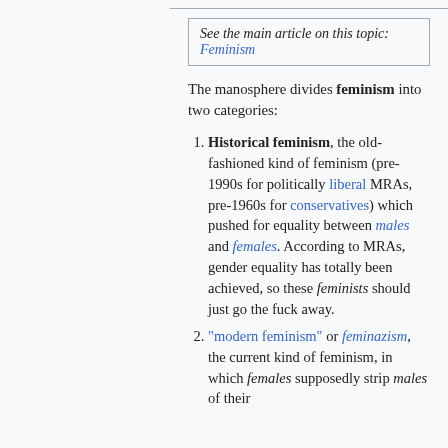See the main article on this topic: Feminism
The manosphere divides feminism into two categories:
Historical feminism, the old-fashioned kind of feminism (pre-1990s for politically liberal MRAs, pre-1960s for conservatives) which pushed for equality between males and females. According to MRAs, gender equality has totally been achieved, so these feminists should just go the fuck away.
"modern feminism" or feminazism, the current kind of feminism, in which females supposedly strip males of their